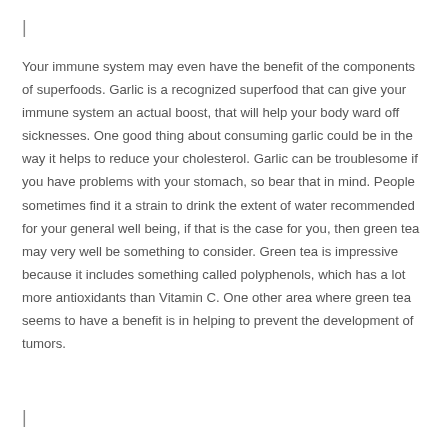|
Your immune system may even have the benefit of the components of superfoods. Garlic is a recognized superfood that can give your immune system an actual boost, that will help your body ward off sicknesses. One good thing about consuming garlic could be in the way it helps to reduce your cholesterol. Garlic can be troublesome if you have problems with your stomach, so bear that in mind. People sometimes find it a strain to drink the extent of water recommended for your general well being, if that is the case for you, then green tea may very well be something to consider. Green tea is impressive because it includes something called polyphenols, which has a lot more antioxidants than Vitamin C. One other area where green tea seems to have a benefit is in helping to prevent the development of tumors.
|